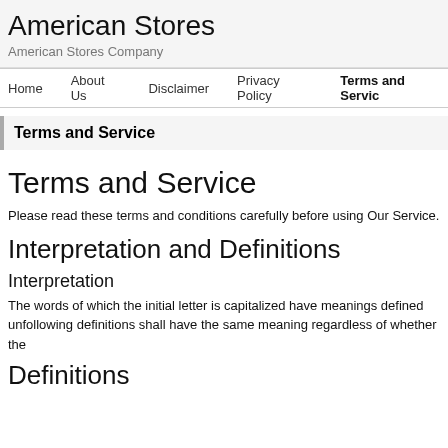American Stores
American Stores Company
Home   About Us   Disclaimer   Privacy Policy   Terms and Service
Terms and Service
Terms and Service
Please read these terms and conditions carefully before using Our Service.
Interpretation and Definitions
Interpretation
The words of which the initial letter is capitalized have meanings defined un following definitions shall have the same meaning regardless of whether the
Definitions